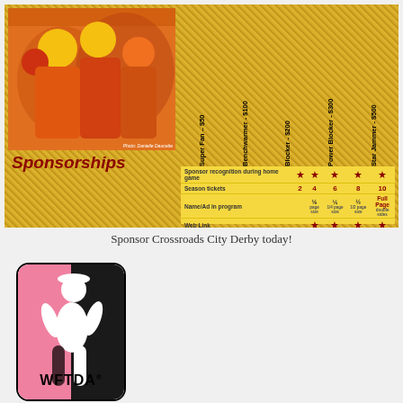[Figure (infographic): Sponsorship table for Crossroads City Derby showing roller derby action photo on left, sponsorship tiers as column headers (Super Fan $50, Benchwarmer $100, Blocker $200, Power Blocker $300, Star Jammer $500), and rows for benefits including sponsor recognition, season tickets, name/ad in program, web link, sponsor-provided banner, logo on game materials, promotional table]
Sponsor Crossroads City Derby today!
[Figure (logo): WFTDA (Women's Flat Track Derby Association) logo showing a silhouette of a roller derby skater in black and pink]